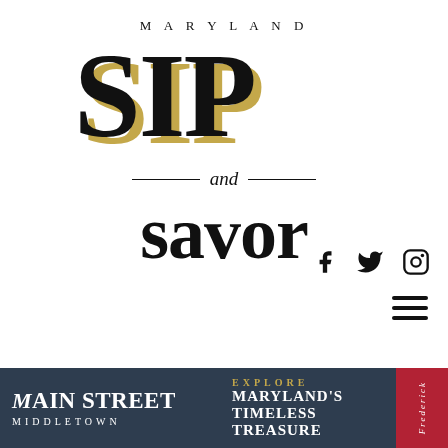[Figure (logo): Maryland Sip and Savor logo with 'MARYLAND' in small caps above large stylized 'SIP' text in black with gold shadow, '— and —' in italic with horizontal rules, and 'savor' in large serif bold black text]
[Figure (illustration): Social media icons: Facebook (f), Twitter (bird), Instagram (camera outline) in black]
[Figure (illustration): Hamburger menu icon (three horizontal lines) in black]
[Figure (infographic): Banner advertisement: dark blue background with 'MAIN STREET MIDDLETOWN' in white serif bold on left, 'EXPLORE MARYLAND'S TIMELESS TREASURE' in gold/white on center, and red panel on right with 'Frederick' text]